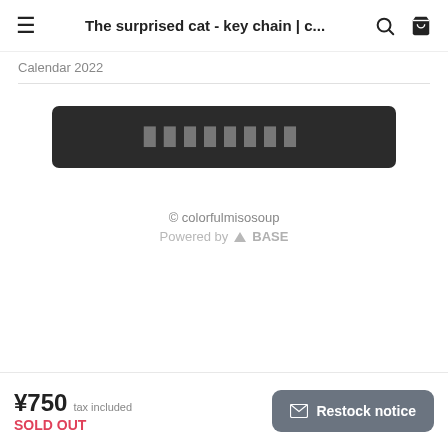The surprised cat - key chain | c...
Calendar 2022
[Figure (other): Dark rounded rectangle button with Japanese characters (sold out button placeholder text)]
© colorfulmisosoup
Powered by BASE
¥750 tax included
SOLD OUT
Restock notice